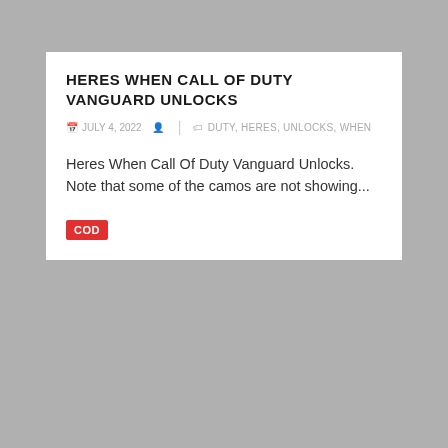HERES WHEN CALL OF DUTY VANGUARD UNLOCKS
JULY 4, 2022  |  DUTY, HERES, UNLOCKS, WHEN
Heres When Call Of Duty Vanguard Unlocks. Note that some of the camos are not showing...
COD